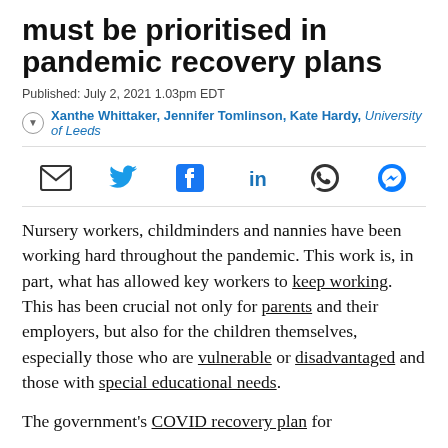must be prioritised in pandemic recovery plans
Published: July 2, 2021 1.03pm EDT
Xanthe Whittaker, Jennifer Tomlinson, Kate Hardy, University of Leeds
Nursery workers, childminders and nannies have been working hard throughout the pandemic. This work is, in part, what has allowed key workers to keep working. This has been crucial not only for parents and their employers, but also for the children themselves, especially those who are vulnerable or disadvantaged and those with special educational needs.
The government's COVID recovery plan for